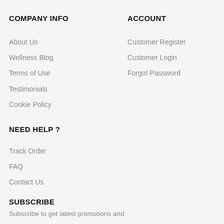COMPANY INFO
About Us
Wellness Blog
Terms of Use
Testimonials
Cookie Policy
ACCOUNT
Customer Register
Customer Login
Forgot Password
NEED HELP ?
Track Order
FAQ
Contact Us
SUBSCRIBE
Subscribe to get latest promotions and